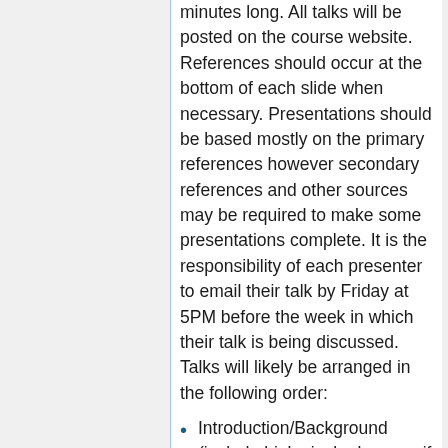minutes long. All talks will be posted on the course website. References should occur at the bottom of each slide when necessary. Presentations should be based mostly on the primary references however secondary references and other sources may be required to make some presentations complete. It is the responsibility of each presenter to email their talk by Friday at 5PM before the week in which their talk is being discussed. Talks will likely be arranged in the following order:
Introduction/Background (include biological relevance if applicable)
Specifics of the System or General Problem
Computational Methods (theory) and Details (system setup) being used
Results and Discussion (critical